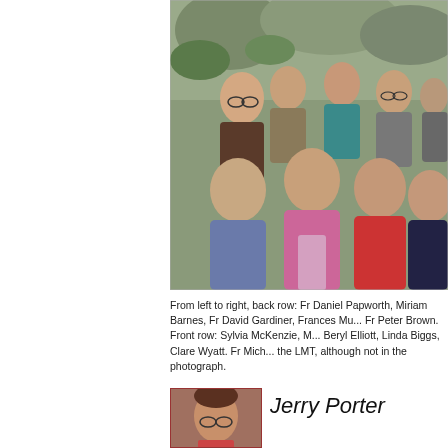[Figure (photo): Group photo of approximately 10 people outdoors, arranged in two rows (back and front), smiling at the camera with rocky/leafy background.]
From left to right, back row: Fr Daniel Papworth, Miriam Barnes, Fr David Gardiner, Frances Mu..., Fr Peter Brown. Front row: Sylvia McKenzie, M..., Beryl Elliott, Linda Biggs, Clare Wyatt. Fr Mich... the LMT, although not in the photograph.
[Figure (photo): Headshot portrait of Jerry Porter, a man with glasses.]
Jerry Porter